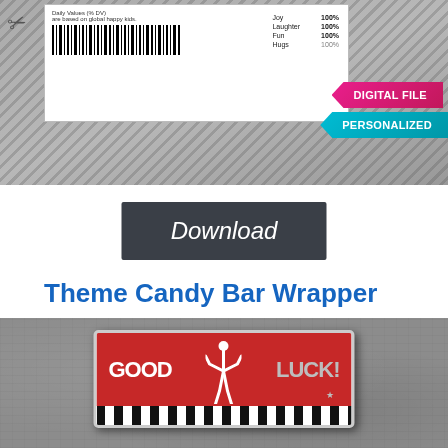[Figure (photo): Top portion of a candy bar nutrition label with barcode on a striped/metallic background. Pink 'DIGITAL FILE' badge and teal 'PERSONALIZED' badge visible on the right side. Nutrition label shows Joy 100%, Laughter 100%, Fun 100%, Hugs 100%.]
[Figure (infographic): Dark gray download button with italic white text reading 'Download']
Theme Candy Bar Wrapper
[Figure (photo): Candy bar wrapper on a concrete background showing a red wrapper with white gymnast silhouette doing a handstand, text 'GOOD LUCK!' in white and gray, with black and white zebra stripe bottom border.]